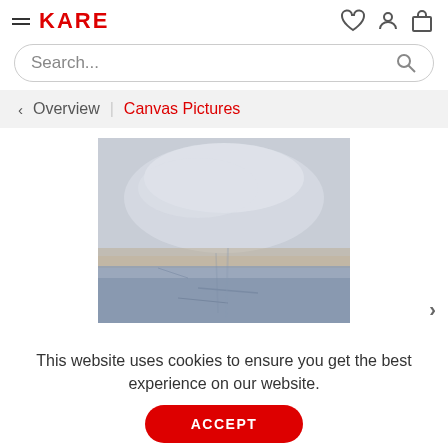KARE — Navigation header with hamburger menu, logo, and icons
Search...
< Overview | Canvas Pictures
[Figure (photo): Abstract canvas art painting with grey-blue misty tones, lighter at top and darker blue-grey at bottom, with some warm golden-brown mid-section.]
This website uses cookies to ensure you get the best experience on our website.
ACCEPT